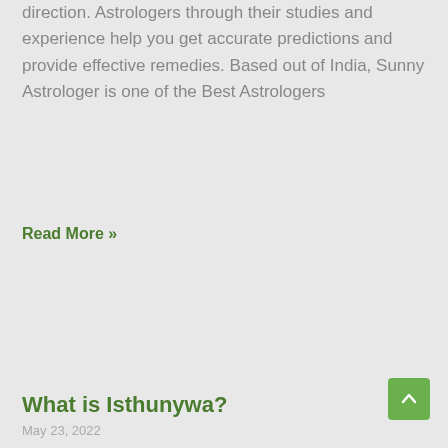direction. Astrologers through their studies and experience help you get accurate predictions and provide effective remedies. Based out of India, Sunny Astrologer is one of the Best Astrologers
Read More »
What is Isthunywa?
May 23, 2022